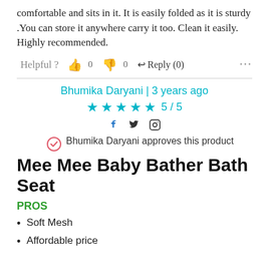comfortable and sits in it. It is easily folded as it is sturdy .You can store it anywhere carry it too. Clean it easily. Highly recommended.
Helpful ? 👍 0 👎 0 ↩ Reply (0) ···
Bhumika Daryani | 3 years ago
★★★★★ 5 / 5
Bhumika Daryani approves this product
Mee Mee Baby Bather Bath Seat
PROS
Soft Mesh
Affordable price